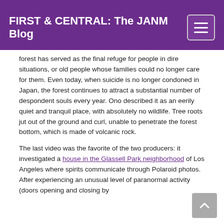FIRST & CENTRAL: The JANM Blog
forest has served as the final refuge for people in dire situations, or old people whose families could no longer care for them. Even today, when suicide is no longer condoned in Japan, the forest continues to attract a substantial number of despondent souls every year. Ono described it as an eerily quiet and tranquil place, with absolutely no wildlife. Tree roots jut out of the ground and curl, unable to penetrate the forest bottom, which is made of volcanic rock.
The last video was the favorite of the two producers: it investigated a house in the Glassell Park neighborhood of Los Angeles where spirits communicate through Polaroid photos. After experiencing an unusual level of paranormal activity (doors opening and closing by